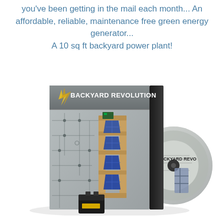you've been getting in the mail each month... An affordable, reliable, maintenance free green energy generator... A 10 sq ft backyard power plant!
[Figure (illustration): Product box and DVD disc for 'Backyard Revolution' — shows a solar panel array mounted on a wooden frame with circuit board background graphic, with a matching disc partially visible to the right.]